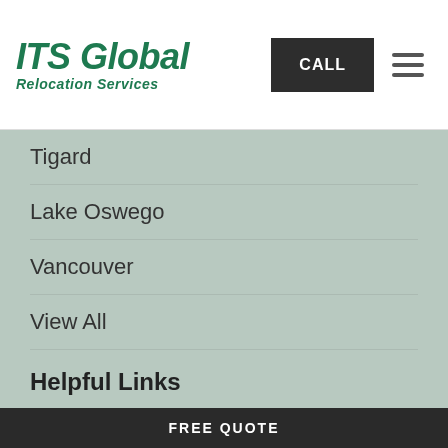ITS Global Relocation Services
Tigard
Lake Oswego
Vancouver
View All
Helpful Links
About
Blog
Offers
Reviews
FREE QUOTE